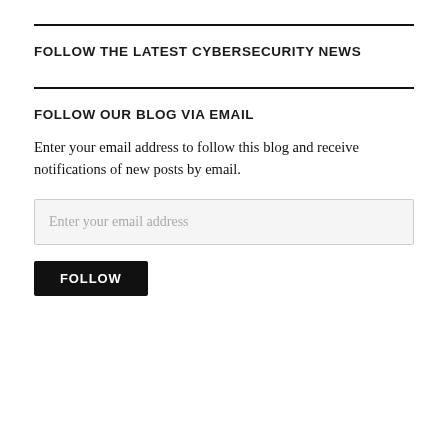FOLLOW THE LATEST CYBERSECURITY NEWS
FOLLOW OUR BLOG VIA EMAIL
Enter your email address to follow this blog and receive notifications of new posts by email.